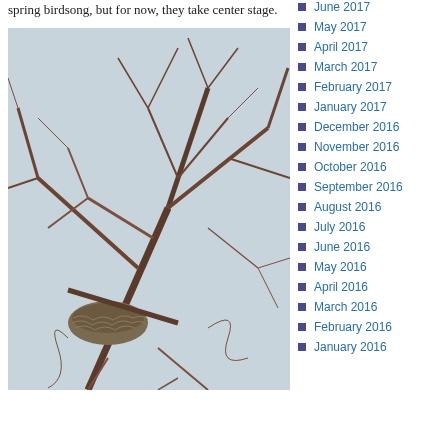spring birdsong, but for now, they take center stage.
[Figure (photo): A bird's nest nestled among bare winter branches against a light sky background.]
June 2017
May 2017
April 2017
March 2017
February 2017
January 2017
December 2016
November 2016
October 2016
September 2016
August 2016
July 2016
June 2016
May 2016
April 2016
March 2016
February 2016
January 2016